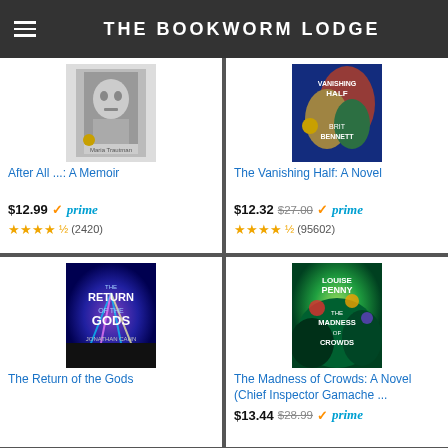THE BOOKWORM LODGE
[Figure (photo): Book cover: After All ...: A Memoir by Maria Trautman, black and white photo of a child]
After All ...: A Memoir
$12.99 ✓prime ★★★★½ (2420)
[Figure (photo): Book cover: The Vanishing Half: A Novel by Brit Bennett, colorful abstract cover]
The Vanishing Half: A Novel
$12.32 $27.00 ✓prime ★★★★½ (95602)
[Figure (photo): Book cover: The Return of the Gods by Jonathan Cahn, cosmic/concert imagery]
The Return of the Gods
[Figure (photo): Book cover: The Madness of Crowds: A Novel (Chief Inspector Gamache ...) by Louise Penny, colorful nature cover]
The Madness of Crowds: A Novel (Chief Inspector Gamache ...
$13.44 $28.99 ✓prime